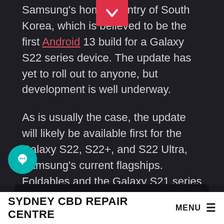Samsung's home country of South Korea, which is believed to be the first Android 13 build for a Galaxy S22 series device. The update has yet to roll out to anyone, but development is well underway.
As is usually the case, the update will likely be available first for the Galaxy S22, S22+, and S22 Ultra, Samsung's current flagships. Foldables and the Galaxy S21 series will likely follow closely behind.
[Figure (screenshot): Screenshot showing Korean text in green on dark background: 이전 테스트 펌웨어 목록에 존재합니다.]
SYDNEY CBD REPAIR CENTRE  MENU ☰